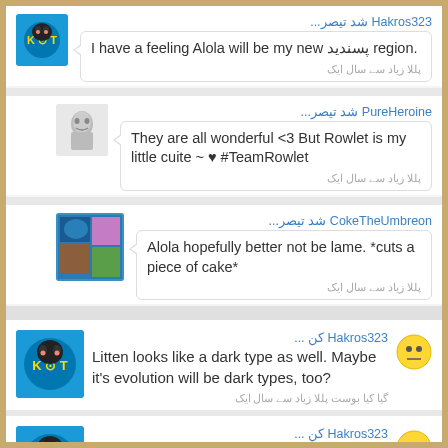Hakros323 شد‌ تیصر‌... I have a feeling Alola will be my new پسندید‌ region. پللا زیاد‌ سے سال ایک
PureHeroine شد‌ تیصر‌... They are all wonderful <3 But Rowlet is my little cuite ~ ♥ #TeamRowlet پللا زیاد‌ سے سال ایک
CokeTheUmbreon شد‌ تیصر‌... Alola hopefully better not be lame. *cuts a piece of cake* پللا زیاد‌ سے سال ایک
Hakros323 کن‌ ... Litten looks like a dark type as well. Maybe it's evolution will be dark types, too? گیا کیا بوست پللا زیاد‌ سے سال ایک
Hakros323 کن‌ ... The new region looks so tropical..